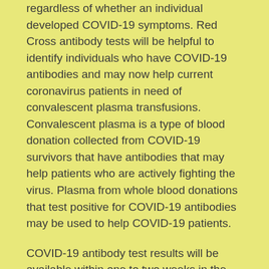regardless of whether an individual developed COVID-19 symptoms. Red Cross antibody tests will be helpful to identify individuals who have COVID-19 antibodies and may now help current coronavirus patients in need of convalescent plasma transfusions. Convalescent plasma is a type of blood donation collected from COVID-19 survivors that have antibodies that may help patients who are actively fighting the virus. Plasma from whole blood donations that test positive for COVID-19 antibodies may be used to help COVID-19 patients.
COVID-19 antibody test results will be available within one to two weeks in the Red Cross Blood Donor App or donor portal at RedCrossBlood.org. A positive antibody test result does not confirm infection or immunity. The Red Cross is not testing donors to diagnose illness, referred to as a diagnostic test. To protect the health and safety of Red Cross staff and donors, it is important that individuals who do not feel well or believe they may be ill with COVID-19 postpone donation.
Each Red Cross blood drive and donation center follows the highest standards of safety and infection control, and additional